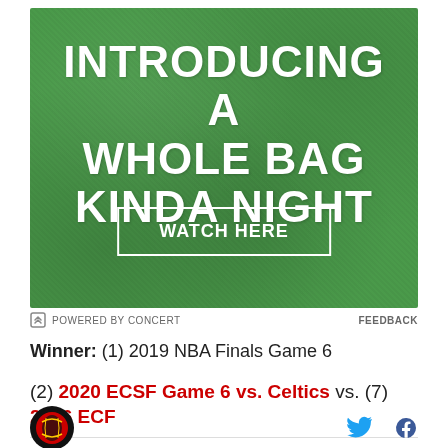[Figure (photo): Green textured background advertisement banner with white bold text reading 'INTRODUCING A WHOLE BAG KINDA NIGHT' and a 'WATCH HERE' button with white border]
POWERED BY CONCERT   FEEDBACK
Winner: (1) 2019 NBA Finals Game 6
(2) 2020 ECSF Game 6 vs. Celtics vs. (7) 2016 ECF
[Figure (logo): Sports team logo circle (Atlanta Hawks) and social media icons for Twitter and Facebook]